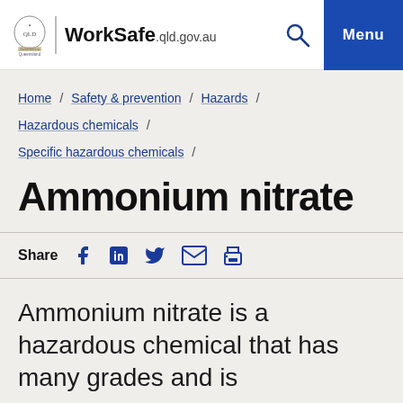WorkSafe.qld.gov.au
Home / Safety & prevention / Hazards / Hazardous chemicals / Specific hazardous chemicals /
Ammonium nitrate
Share
Ammonium nitrate is a hazardous chemical that has many grades and is